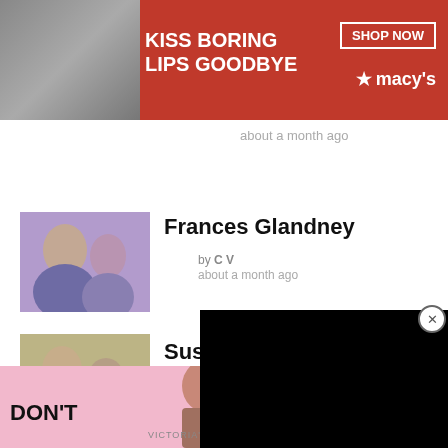[Figure (photo): Macy's advertisement banner: KISS BORING LIPS GOODBYE with red lipstick model and SHOP NOW button]
about a month ago
[Figure (photo): Photo thumbnail of Smokey Robinson and a woman at an event]
Frances Glandney
by CV
about a month ago
[Figure (photo): Photo thumbnail of Michael Bloomberg and a woman at an event]
Susan Bro[omberg] Bloomberg
by CV
about a
[Figure (screenshot): Black video player overlay with close X button]
CLOSE
[Figure (photo): Victoria's Secret advertisement: SHOP THE COLLECTION with model]